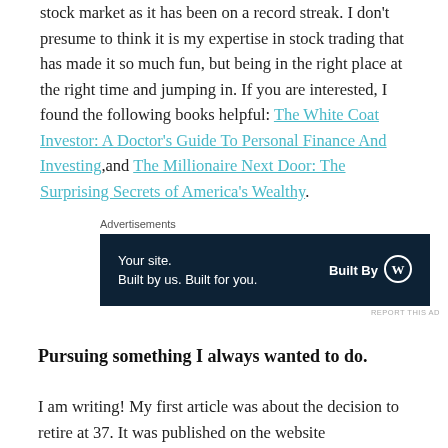stock market as it has been on a record streak. I don't presume to think it is my expertise in stock trading that has made it so much fun, but being in the right place at the right time and jumping in. If you are interested, I found the following books helpful: The White Coat Investor: A Doctor's Guide To Personal Finance And Investing, and The Millionaire Next Door: The Surprising Secrets of America's Wealthy.
[Figure (other): Advertisement banner: 'Your site. Built by us. Built for you.' with WordPress Built By logo on dark navy background.]
Pursuing something I always wanted to do.
I am writing! My first article was about the decision to retire at 37. It was published on the website KevinMD.com. I was